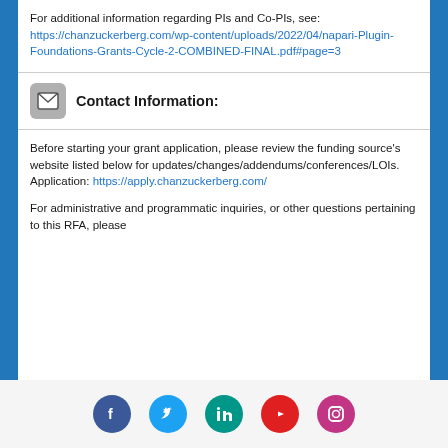For additional information regarding PIs and Co-PIs, see: https://chanzuckerberg.com/wp-content/uploads/2022/04/napari-Plugin-Foundations-Grants-Cycle-2-COMBINED-FINAL.pdf#page=3
Contact Information:
Before starting your grant application, please review the funding source's website listed below for updates/changes/addendums/conferences/LOIs. Application: https://apply.chanzuckerberg.com/
For administrative and programmatic inquiries, or other questions pertaining to this RFA, please
[Figure (other): Social media icons row: Facebook, Twitter, LinkedIn, YouTube, Instagram]